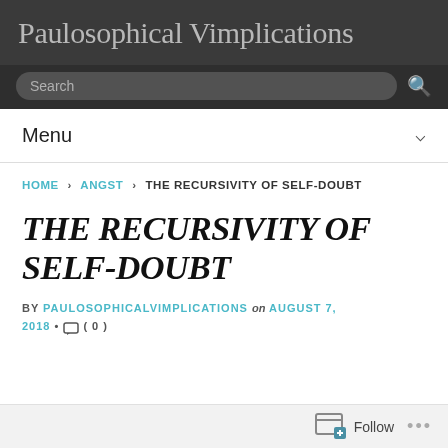Paulosophical Vimplications
Search
Menu
HOME › ANGST › THE RECURSIVITY OF SELF-DOUBT
THE RECURSIVITY OF SELF-DOUBT
BY PAULOSOPHICALVIMPLICATIONS on AUGUST 7, 2018 • ( 0 )
Follow